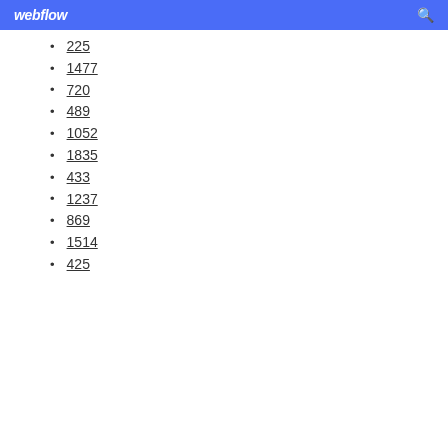webflow
225
1477
720
489
1052
1835
433
1237
869
1514
425